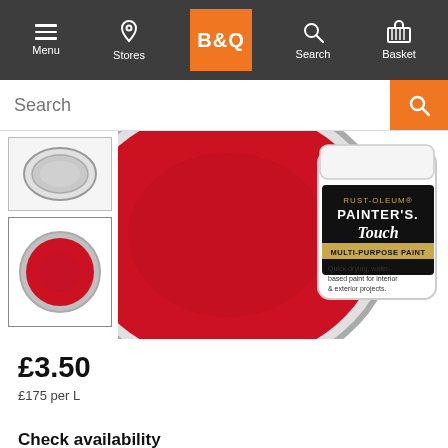B&Q — Menu | Stores | Search | Basket
[Figure (screenshot): B&Q website search bar with orange search button]
[Figure (photo): Rust-Oleum Painter's Touch multi-purpose paint tin open showing red paint, with small jar of the same paint beside it. Two product thumbnail images on the left.]
£3.50
£175 per L
Check availability
Enter your postcode and we'll provide you with your delivery &